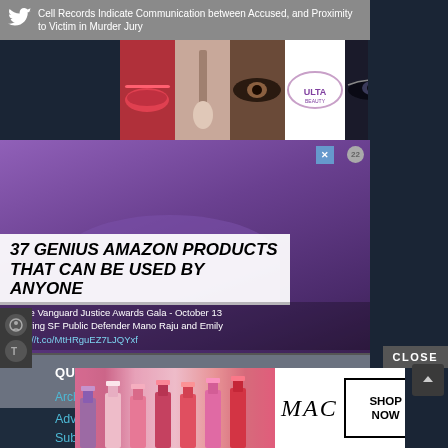Cell Records Indicate Communication between Accused, and Proximity to Victim in Murder Jury
[Figure (screenshot): Ulta Beauty advertisement banner with makeup images and SHOP NOW button]
The Vanguard Justice Awards Gala - October 13 featuring SF Public Defender Mano Raju and Emily https://t.co/MtHRguEZ7LJQYxf
[Figure (screenshot): Amazon promotional overlay text: 37 GENIUS AMAZON PRODUCTS THAT CAN BE USED BY ANYONE over purple background]
QUICK LINKS
Court Watch
Archives
Advertise
Submissions
Donate
Editorial Board
[Figure (screenshot): MAC Cosmetics advertisement banner with lipstick images and SHOP NOW button]
CLOSE